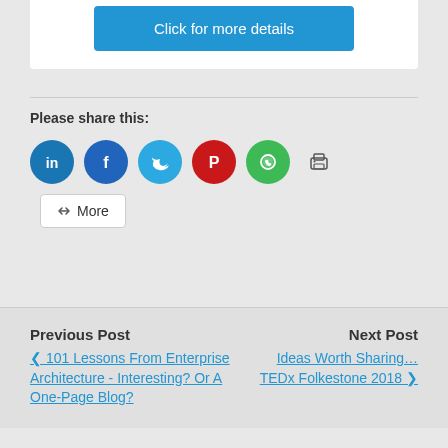[Figure (other): Blue button labeled 'Click for more details']
Please share this:
[Figure (infographic): Social sharing icons: LinkedIn (blue circle), Facebook (blue circle), Twitter (light blue circle), Pinterest (red circle), WhatsApp (green circle), Print icon, More button]
Previous Post
101 Lessons From Enterprise Architecture - Interesting? Or A One-Page Blog?
Next Post
Ideas Worth Sharing… TEDx Folkestone 2018